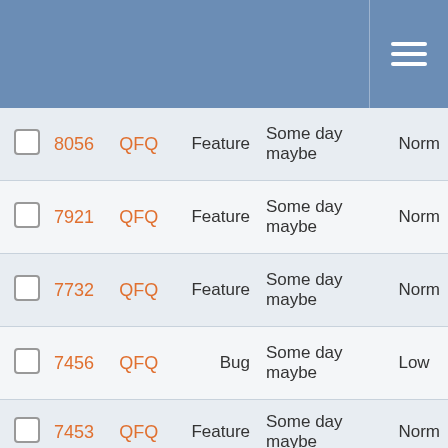|  | ID | Project | Type | Milestone | Priority |
| --- | --- | --- | --- | --- | --- |
| ☐ | 8056 | QFQ | Feature | Some day maybe | Norm |
| ☐ | 7921 | QFQ | Feature | Some day maybe | Norm |
| ☐ | 7732 | QFQ | Feature | Some day maybe | Norm |
| ☐ | 7456 | QFQ | Bug | Some day maybe | Low |
| ☐ | 7453 | QFQ | Feature | Some day maybe | Norm |
| ☐ | 7452 | QFQ | Feature | Some day maybe | Norm |
| ☐ | 7402 | QFQ | Bug | Some day maybe | Norm |